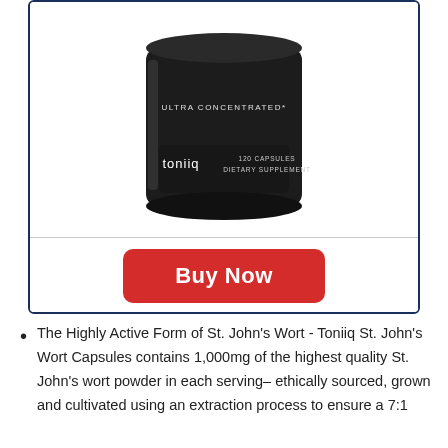[Figure (photo): Black cylindrical supplement bottle labeled 'toniiq ULTRA CONCENTRATED* 120 CAPSULES DIETARY SUPPLEMENT' shown from the side against a white background inside a dark navy-bordered product card.]
Buy Now
The Highly Active Form of St. John's Wort - Toniiq St. John's Wort Capsules contains 1,000mg of the highest quality St. John's wort powder in each serving– ethically sourced, grown and cultivated using an extraction process to ensure a 7:1